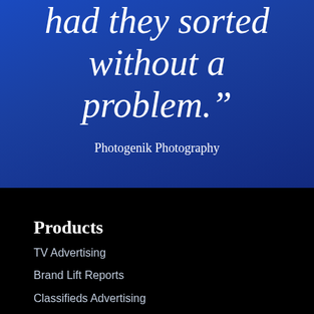had they sorted without a problem.”
Photogenik Photography
Products
TV Advertising
Brand Lift Reports
Classifieds Advertising
Facebook Advertising